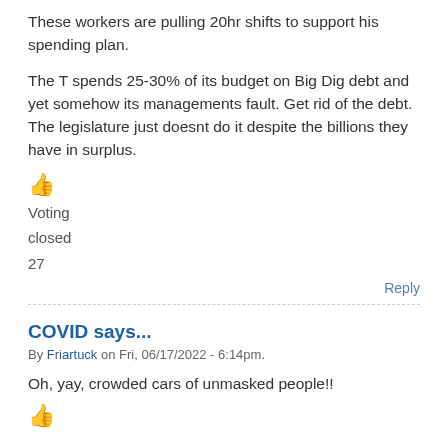These workers are pulling 20hr shifts to support his spending plan.
The T spends 25-30% of its budget on Big Dig debt and yet somehow its managements fault. Get rid of the debt. The legislature just doesnt do it despite the billions they have in surplus.
👍
Voting
closed
27
Reply
COVID says...
By Friartuck on Fri, 06/17/2022 - 6:14pm.
Oh, yay, crowded cars of unmasked people!!
👍